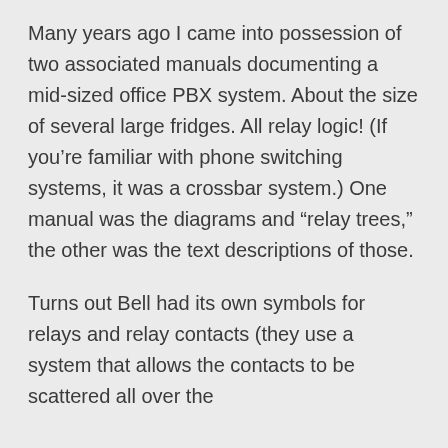Many years ago I came into possession of two associated manuals documenting a mid-sized office PBX system. About the size of several large fridges. All relay logic! (If you’re familiar with phone switching systems, it was a crossbar system.) One manual was the diagrams and “relay trees,” the other was the text descriptions of those.
Turns out Bell had its own symbols for relays and relay contacts (they use a system that allows the contacts to be scattered all over the